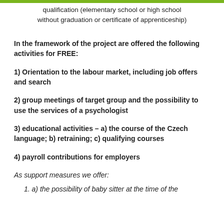qualification (elementary school or high school without graduation or certificate of apprenticeship)
In the framework of the project are offered the following activities for FREE:
1) Orientation to the labour market, including job offers and search
2) group meetings of target group and the possibility to use the services of a psychologist
3) educational activities – a) the course of the Czech language; b) retraining; c) qualifying courses
4) payroll contributions for employers
As support measures we offer:
1. a) the possibility of baby sitter at the time of the